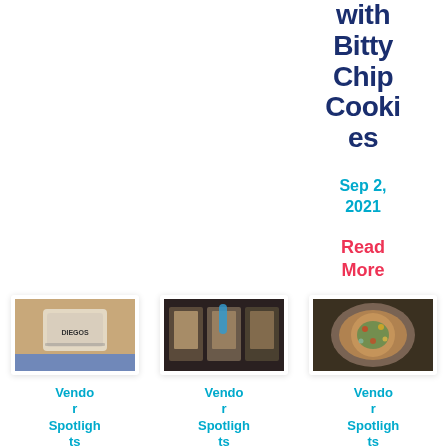with Bitty Chip Cookies
Sep 2, 2021
Read More
[Figure (photo): Photo of Diego's product in a clear container on a wooden surface]
Vendor Spotlights
Dieo...
[Figure (photo): Photo of food boxes with snacks and a blue bottle]
Vendor Spotlights
Usoo...
[Figure (photo): Photo of a colorful taco or bowl dish from above]
Vendor Spotlights
Taco...